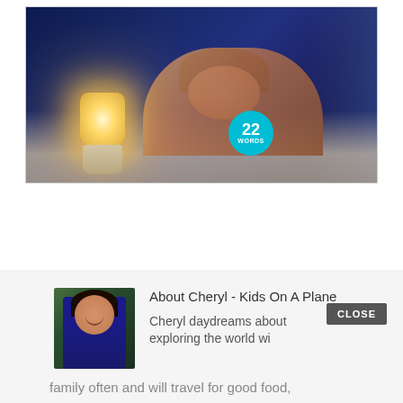[Figure (photo): A person sleeping in bed next to a glowing nightstand lamp. The scene is dark with blue ambient light. A circular teal badge with '22 WORDS' is overlaid on the image.]
[Figure (photo): Headshot of Cheryl, a woman with dark hair wearing a blue top, smiling, with greenery in the background.]
About Cheryl - Kids On A Plane
Cheryl daydreams about exploring the world with her family often and will travel for good food, lattos and theme park rides that don't